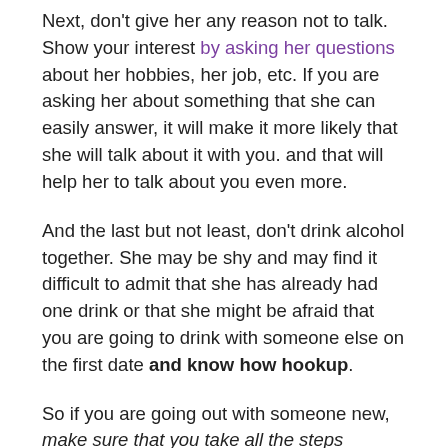Next, don't give her any reason not to talk. Show your interest by asking her questions about her hobbies, her job, etc. If you are asking her about something that she can easily answer, it will make it more likely that she will talk about it with you. and that will help her to talk about you even more.
And the last but not least, don't drink alcohol together. She may be shy and may find it difficult to admit that she has already had one drink or that she might be afraid that you are going to drink with someone else on the first date and know how hookup.
So if you are going out with someone new, make sure that you take all the steps necessary to make sure that you are keeping yourself from being pressured into anything. That means that you should make the